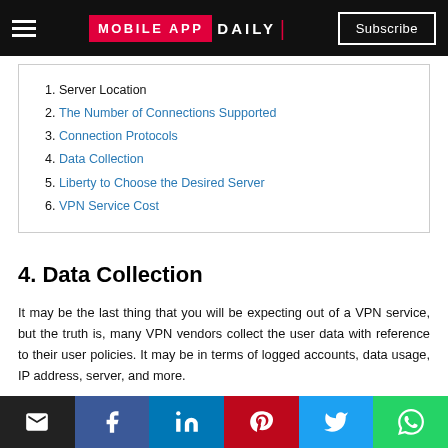MOBILE APP DAILY | Subscribe
1. Server Location
2. The Number of Connections Supported
3. Connection Protocols
4. Data Collection
5. Liberty to Choose the Desired Server
6. VPN Service Cost
4. Data Collection
It may be the last thing that you will be expecting out of a VPN service, but the truth is, many VPN vendors collect the user data with reference to their user policies. It may be in terms of logged accounts, data usage, IP address, server, and more.
So, to save yourself from constant monitoring, you better go through the companies privacy policies and terms of service.
Social sharing bar: email, facebook, linkedin, pinterest, twitter, whatsapp